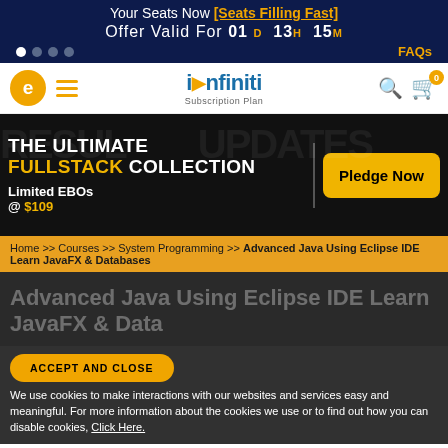Your Seats Now [Seats Filling Fast] Offer Valid For 01 D 13H 15M
[Figure (screenshot): Navigation bar with logo, hamburger menu, iDfiniti Subscription Plan branding, search icon and cart with 0 badge]
[Figure (infographic): Promo banner: THE ULTIMATE FULLSTACK COLLECTION, Limited EBOs @ $109, Pledge Now button on black background]
Home >> Courses >> System Programming >> Advanced Java Using Eclipse IDE Learn JavaFX & Databases
Advanced Java Using Eclipse IDE Learn JavaFX & Data...
ACCEPT AND CLOSE
We use cookies to make interactions with our websites and services easy and meaningful. For more information about the cookies we use or to find out how you can disable cookies, Click Here.